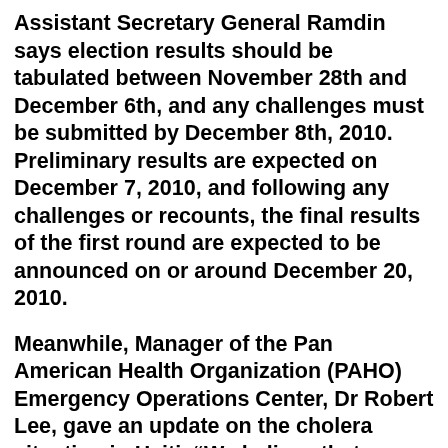Assistant Secretary General Ramdin says election results should be tabulated between November 28th and December 6th, and any challenges must be submitted by December 8th, 2010. Preliminary results are expected on December 7, 2010, and following any challenges or recounts, the final results of the first round are expected to be announced on or around December 20, 2010.
Meanwhile, Manager of the Pan American Health Organization (PAHO) Emergency Operations Center, Dr Robert Lee, gave an update on the cholera situation in Haiti. “We believe that certain critical issues need to be addressed if our efforts to treat patients and save lives are to be successful,” Lee said, indicating that safe water and sanitation are lacking and that short-term efforts should focus on the distribution of chlorine tablets to “virtually every household in the country.” On the other hand, he said...